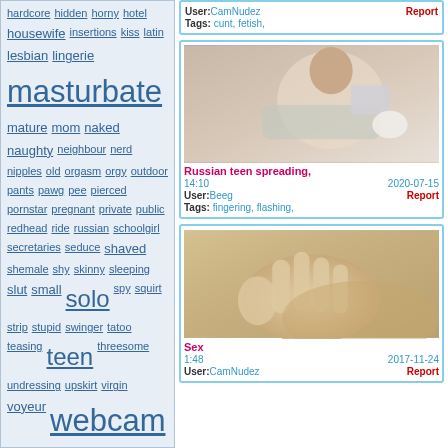hardcore hidden horny hotel housewife insertions kiss latin lesbian lingerie masturbate mature mom naked naughty neighbour nerd nipples old orgasm orgy outdoor pants pawg pee pierced pornstar pregnant private public redhead ride russian schoolgirl secretaries seduce shaved shemale shy skinny sleeping slut small solo spy squirt strip stupid swinger tatoo teasing teen threesome undressing upskirt virgin voyeur webcam
User: CamNudez  Report
Tags: cunt, fetish,
[Figure (photo): Pregnant woman in grey outfit lying on bed reading a magazine]
Russian teen spreading,
14:10   2020-07-15
User: Beeg   Report
Tags: fingering, flashing,
[Figure (photo): Close-up photo of a hand on skin, blurry background]
Sex
1:48   2017-11-24
User: CamNudez   Report